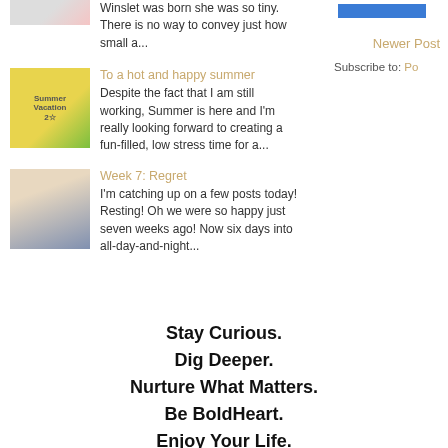Winslet was born she was so tiny. There is no way to convey just how small a...
[Figure (photo): Thumbnail image of a summer vacation poster/board with colorful text]
To a hot and happy summer
Despite the fact that I am still working, Summer is here and I'm really looking forward to creating a fun-filled, low stress time for a...
[Figure (photo): Thumbnail photo of a woman and child resting]
Week 7: Regret
I'm catching up on a few posts today!  Resting! Oh we were so happy just seven weeks ago! Now six days into all-day-and-night...
Newer Post
Subscribe to: Po
Stay Curious.
Dig Deeper.
Nurture What Matters.
Be BoldHeart.
Enjoy Your Life.